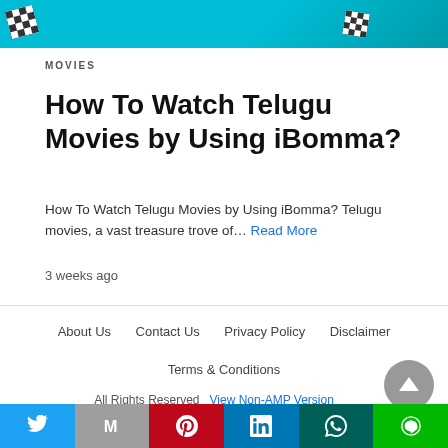[Figure (photo): Top banner image with teal/cyan background and checkered pattern blocks]
MOVIES
How To Watch Telugu Movies by Using iBomma?
How To Watch Telugu Movies by Using iBomma? Telugu movies, a vast treasure trove of… Read More
3 weeks ago
About Us   Contact Us   Privacy Policy   Disclaimer   Terms & Conditions
All Rights Reserved  View Non-AMP Version